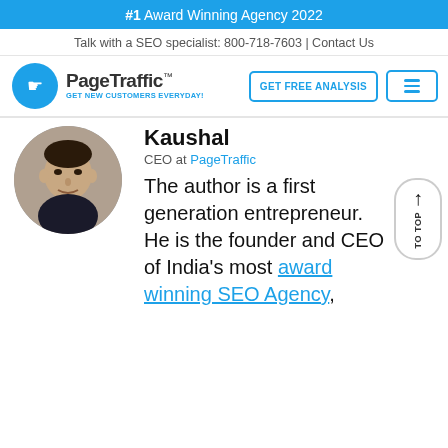#1 Award Winning Agency 2022
Talk with a SEO specialist: 800-718-7603 | Contact Us
[Figure (logo): PageTraffic logo with hand cursor icon and tagline GET NEW CUSTOMERS EVERYDAY!]
GET FREE ANALYSIS
[Figure (photo): Circular profile photo of Kaushal, CEO at PageTraffic]
Kaushal
CEO at PageTraffic
The author is a first generation entrepreneur. He is the founder and CEO of India's most award winning SEO Agency,